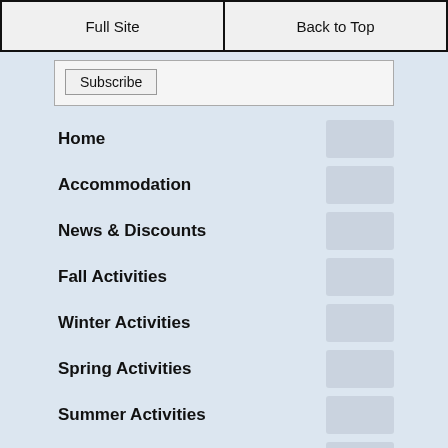Full Site | Back to Top
Subscribe
Home
Accommodation
News & Discounts
Fall Activities
Winter Activities
Spring Activities
Summer Activities
Best Restaurants
Whistler & Sun Peaks
Ski Cabin Decor & Signs
Sun Peaks